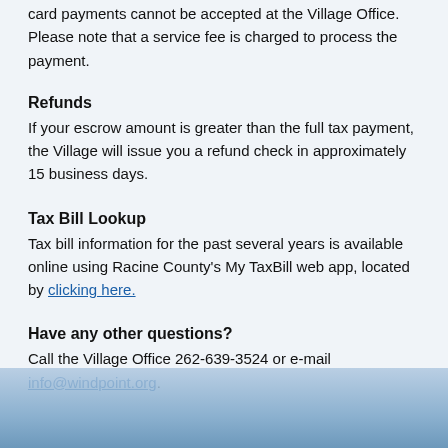card payments cannot be accepted at the Village Office. Please note that a service fee is charged to process the payment.
Refunds
If your escrow amount is greater than the full tax payment, the Village will issue you a refund check in approximately 15 business days.
Tax Bill Lookup
Tax bill information for the past several years is available online using Racine County's My TaxBill web app, located by clicking here.
Have any other questions?
Call the Village Office 262-639-3524 or e-mail info@windpoint.org.